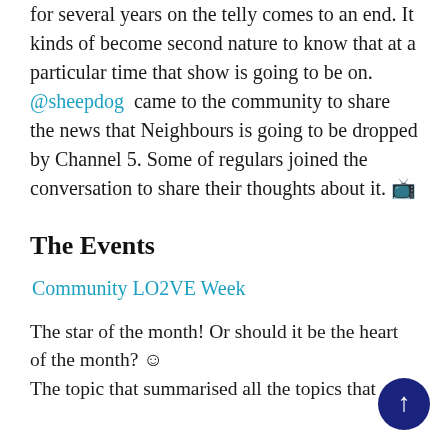for several years on the telly comes to an end. It kinds of become second nature to know that at a particular time that show is going to be on. @sheepdog came to the community to share the news that Neighbours is going to be dropped by Channel 5. Some of regulars joined the conversation to share their thoughts about it. 📺
The Events
Community LO2VE Week
The star of the month! Or should it be the heart of the month? ☺ The topic that summarised all the topics that